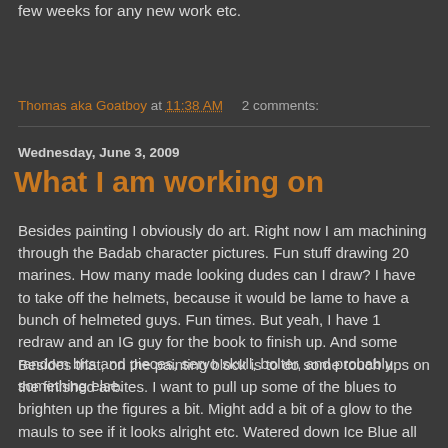few weeks for any new work etc.
Thomas aka Goatboy at 11:38 AM    2 comments:
Wednesday, June 3, 2009
What I am working on
Besides painting I obviously do art. Right now I am machining through the Badab character pictures. Fun stuff drawing 20 marines. How many made looking dudes can I draw? I have to take off the helmets, because it would be lame to have a bunch of helmeted guys. Fun times. But yeah, I have 1 redraw and an IG guy for the book to finish up. And some random bits and pieces, servo skull, bolter, and probably something else.
Besides that, on the painting block is to do some touch ups on the finished arbites. I want to pull up some of the blues to brighten up the figures a bit. Might add a bit of a glow to the mauls to see if it looks alright etc. Watered down Ice Blue all the way baby.